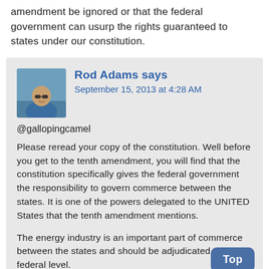amendment be ignored or that the federal government can usurp the rights guaranteed to states under our constitution.
Rod Adams says
September 15, 2013 at 4:28 AM
@gallopingcamel

Please reread your copy of the constitution. Well before you get to the tenth amendment, you will find that the constitution specifically gives the federal government the responsibility to govern commerce between the states. It is one of the powers delegated to the UNITED States that the tenth amendment mentions.

The energy industry is an important part of commerce between the states and should be adjudicated at a federal level.